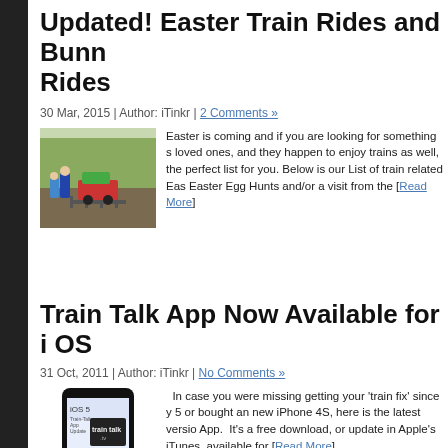Updated! Easter Train Rides and Bunny Rides
30 Mar, 2015 | Author: iTinkr | 2 Comments »
[Figure (photo): Photo of people by a small train on tracks, outdoor scene with trees]
Easter is coming and if you are looking for something special with your loved ones, and they happen to enjoy trains as well, then we have the perfect list for you. Below is our List of train related Easter events, Easter Egg Hunts and/or a visit from the [Read More]
Train Talk App Now Available for i OS
31 Oct, 2011 | Author: iTinkr | No Comments »
[Figure (screenshot): Screenshot of Train Talk app on an iPhone showing iOS 5 screen with train talk .tv branding]
In case you were missing getting your 'train fix' since you upgraded to iOS 5 or bought an new iPhone 4S, here is the latest version of the Train Talk App. It's a free download, or update in Apple's iTunes. It's now available for [Read More]